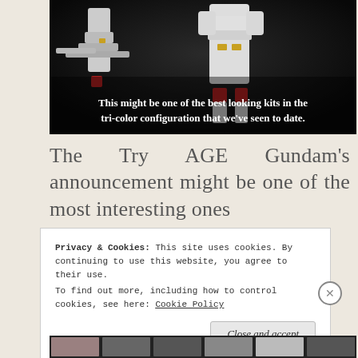[Figure (photo): A white Gundam model kit figure against a dark/black background, showing the upper body and legs of the mecha in a tri-color configuration.]
This might be one of the best looking kits in the tri-color configuration that we've seen to date.
The Try AGE Gundam's announcement might be one of the most interesting ones
Privacy & Cookies: This site uses cookies. By continuing to use this website, you agree to their use.
To find out more, including how to control cookies, see here: Cookie Policy
Close and accept